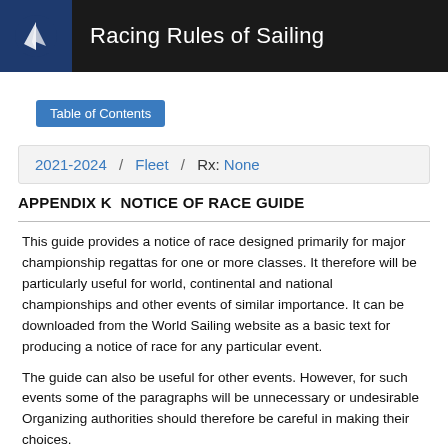Racing Rules of Sailing
Table of Contents
2021-2024 / Fleet / Rx: None
APPENDIX K  NOTICE OF RACE GUIDE
This guide provides a notice of race designed primarily for major championship regattas for one or more classes. It therefore will be particularly useful for world, continental and national championships and other events of similar importance. It can be downloaded from the World Sailing website as a basic text for producing a notice of race for any particular event.
The guide can also be useful for other events. However, for such events some of the paragraphs will be unnecessary or undesirable Organizing authorities should therefore be careful in making their choices.